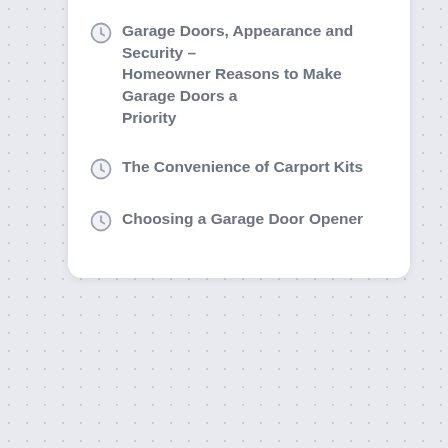Garage Doors, Appearance and Security – Homeowner Reasons to Make Garage Doors a Priority
The Convenience of Carport Kits
Choosing a Garage Door Opener
Categories
Aluminium Garage Door
General Articles
Maintenance Tips
Rooling Door
Safety Tips